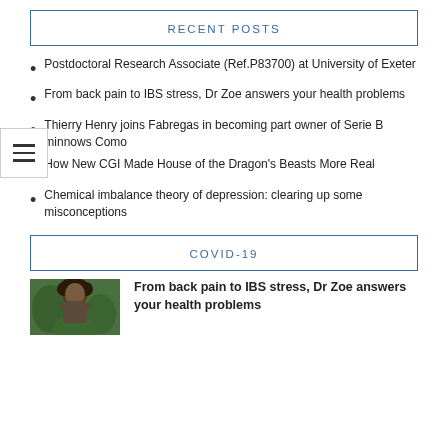RECENT POSTS
Postdoctoral Research Associate (Ref.P83700) at University of Exeter
From back pain to IBS stress, Dr Zoe answers your health problems
Thierry Henry joins Fabregas in becoming part owner of Serie B minnows Como
How New CGI Made House of the Dragon's Beasts More Real
Chemical imbalance theory of depression: clearing up some misconceptions
COVID-19
[Figure (photo): Photo of a person with curly hair outdoors with green background]
From back pain to IBS stress, Dr Zoe answers your health problems